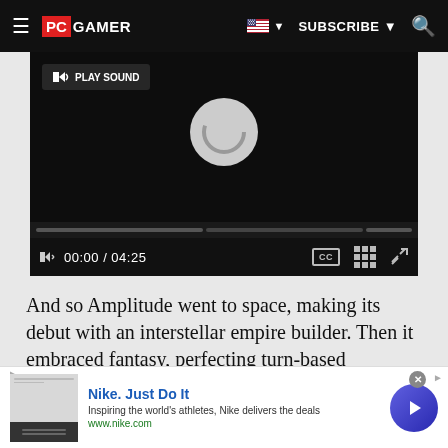PC GAMER | SUBSCRIBE
[Figure (screenshot): Embedded video player showing loading spinner with PLAY SOUND button, progress bar sections, and playback controls showing 00:00 / 04:25 with CC, grid, and expand buttons]
And so Amplitude went to space, making its debut with an interstellar empire builder. Then it embraced fantasy, perfecting turn-based expansion across a
[Figure (screenshot): Nike advertisement banner: Nike. Just Do It - Inspiring the world's athletes, Nike delivers the deals - www.nike.com - with play button]